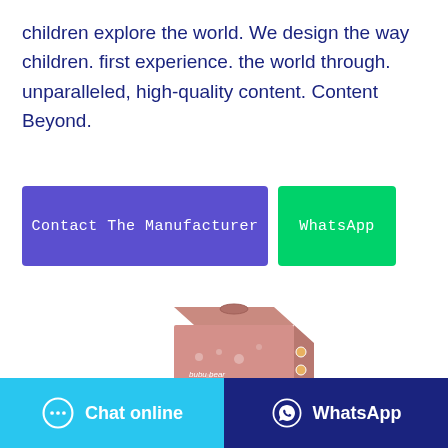children explore the world. We design the way children. first experience. the world through. unparalleled, high-quality content. Content Beyond.
Contact The Manufacturer
WhatsApp
[Figure (photo): Product box of bubu bear BABY-DRY DIAPERS, pink/mauve colored packaging with bear logo]
Chat online
WhatsApp